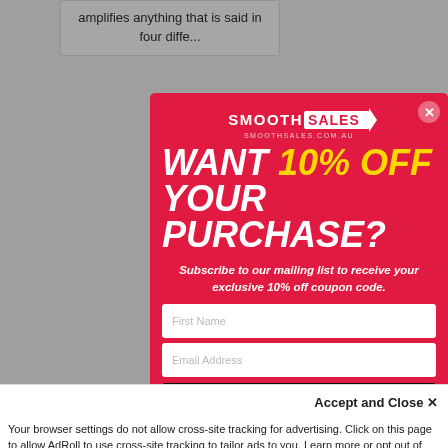amplifies anything that is said in four diffe...
crumbs - for this mini desk vacuum is here...
[Figure (screenshot): SmoothSales popup modal overlay with red background showing 'WANT 10% OFF YOUR PURCHASE?' promotional offer with email subscription form including First Name and Email Address fields and Subscribe button]
Accept and Close ×
Your browser settings do not allow cross-site tracking for advertising. Click on this page to allow AdRoll to use cross-site tracking to tailor ads to you. Learn more or opt out of this AdRoll tracking by clicking here. This message only appears once.